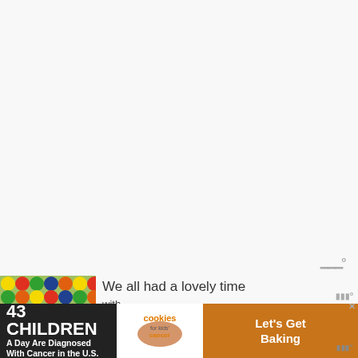[Figure (other): Large blank/white area occupying the top portion of the page, representing a mostly empty webpage or app background]
[Figure (other): Small Meetup logo (bar/wave icon with degree symbol) in grey, positioned in the upper-right area]
[Figure (photo): Thumbnail photo of colorful round candy balls (gumballs) in green, yellow, red, orange, blue colors]
We all had a lovely time
with baby
[Figure (infographic): Advertisement banner: dark background on left reads '43 CHILDREN A Day Are Diagnosed With Cancer in the U.S.' Middle shows 'cookies for kids cancer' logo on white background. Right side shows brown/cookie colored panel with 'Let's Get Baking' text. There is a close/X button and a Meetup logo on the right.]